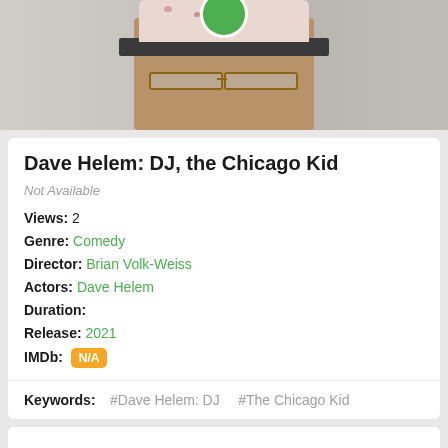[Figure (photo): Photo of Dave Helem wearing a floral hat and glasses, with a green circular logo icon at the top]
Dave Helem: DJ, the Chicago Kid
Not Available
Views: 2
Genre: Comedy
Director: Brian Volk-Weiss
Actors: Dave Helem
Duration:
Release: 2021
IMDb: N/A
Keywords: #Dave Helem: DJ   #The Chicago Kid
Some Movies Suggest By Us: